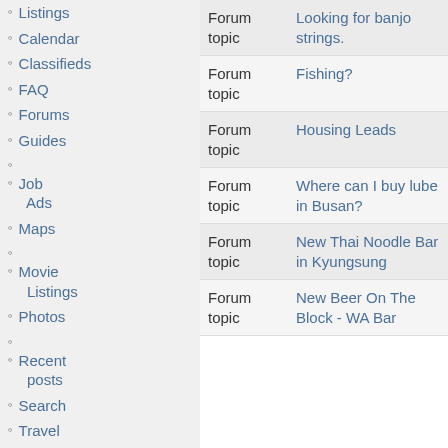Listings
Calendar
Classifieds
FAQ
Forums
Guides
Job Ads
Maps
Movie Listings
Photos
Recent posts
Search
Travel
Videos
| Type | Subject | User |
| --- | --- | --- |
| Forum topic | Looking for banjo strings. | thrice.great.her |
| Forum topic | Fishing? | ThulsaDooom |
| Forum topic | Housing Leads | tick |
| Forum topic | Where can I buy lube in Busan? | ticklechicken |
| Forum topic | New Thai Noodle Bar in Kyungsung | ticklechicken |
| Forum topic | New Beer On The Block - WA Bar | ticklechicken |